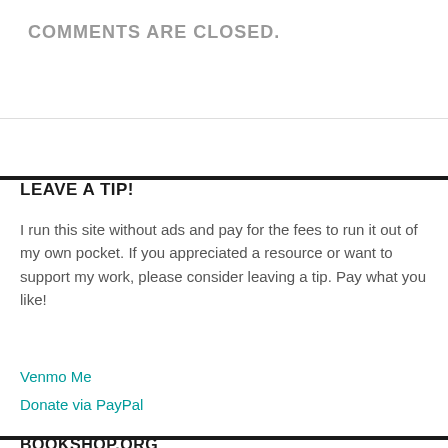COMMENTS ARE CLOSED.
LEAVE A TIP!
I run this site without ads and pay for the fees to run it out of my own pocket. If you appreciated a resource or want to support my work, please consider leaving a tip. Pay what you like!
LEAVE A TIP
Venmo Me
Donate via PayPal
BOOKSHOP.ORG